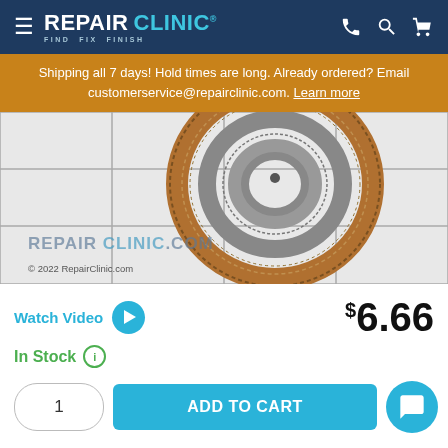REPAIR CLINIC — FIND. FIX. FINISH.
Shipping all 7 days! Hold times are long. Already ordered? Email customerservice@repairclinic.com. Learn more
[Figure (photo): Close-up photo of a spiral/coil spring part (flat wind spring) on a white grid background. Watermark reads REPAIRCLINIC.COM. Copyright 2022 RepairClinic.com.]
Watch Video
$6.66
In Stock
1
ADD TO CART